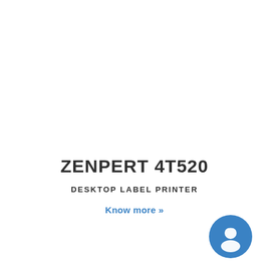ZENPERT 4T520
DESKTOP LABEL PRINTER
Know more »
[Figure (illustration): Blue circular support/customer service icon with headset person silhouette]